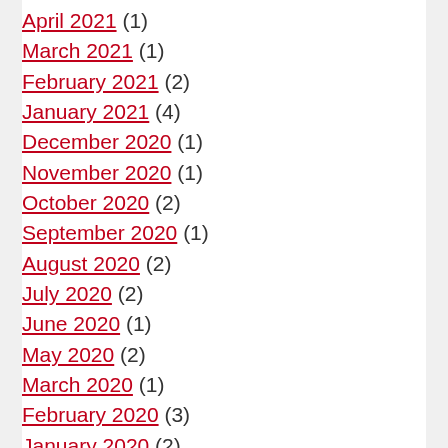April 2021 (1)
March 2021 (1)
February 2021 (2)
January 2021 (4)
December 2020 (1)
November 2020 (1)
October 2020 (2)
September 2020 (1)
August 2020 (2)
July 2020 (2)
June 2020 (1)
May 2020 (2)
March 2020 (1)
February 2020 (3)
January 2020 (2)
December 2019 (3)
November 2019 (3)
October 2019 (4)
September 2019 (1)